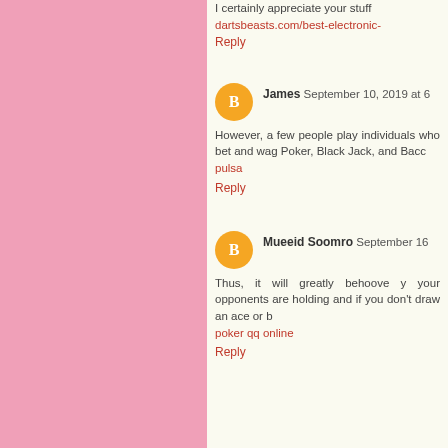I certainly appreciate your stuff dartsbeasts.com/best-electronic-
Reply
James  September 10, 2019 at 6
However, a few people play individuals who bet and wag Poker, Black Jack, and Bacco pulsa
Reply
Mueeid Soomro  September 16
Thus, it will greatly behoove y your opponents are holding and if you don't draw an ace or b poker qq online
Reply